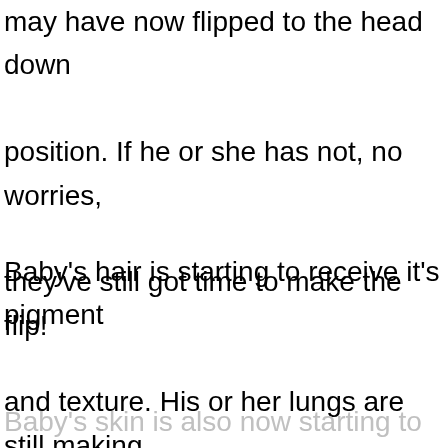may have now flipped to the head down position. If he or she has not, no worries, they've still got time to make the flip!
Baby's hair is starting to receive it's pigment and texture. His or her lungs are still making some bring preperations for the outside world and will continue to over the next months.
Baby's skin is also now starting to turn a